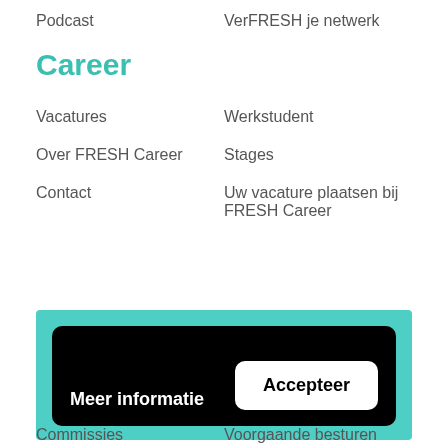Podcast
VerFRESH je netwerk
Career
Vacatures
Werkstudent
Over FRESH Career
Stages
Contact
Uw vacature plaatsen bij FRESH Career
[Figure (screenshot): Cookie consent overlay with black background, showing 'Meer informatie' and 'Accepteer' buttons on a teal/mint background panel]
Commissies
Voorgaande besturen